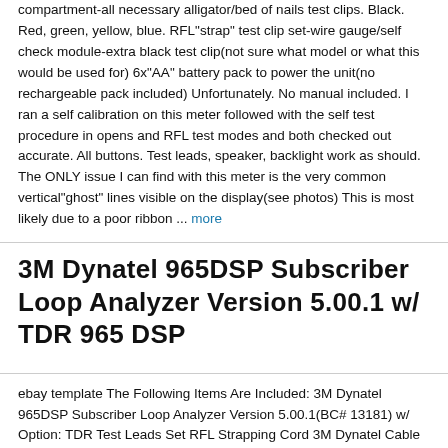compartment-all necessary alligator/bed of nails test clips. Black. Red, green, yellow, blue. RFL"strap" test clip set-wire gauge/self check module-extra black test clip(not sure what model or what this would be used for) 6x"AA" battery pack to power the unit(no rechargeable pack included) Unfortunately. No manual included. I ran a self calibration on this meter followed with the self test procedure in opens and RFL test modes and both checked out accurate. All buttons. Test leads, speaker, backlight work as should. The ONLY issue I can find with this meter is the very common vertical"ghost" lines visible on the display(see photos) This is most likely due to a poor ribbon ... more
3M Dynatel 965DSP Subscriber Loop Analyzer Version 5.00.1 w/ TDR 965 DSP
ebay template The Following Items Are Included: 3M Dynatel 965DSP Subscriber Loop Analyzer Version 5.00.1(BC# 13181) w/ Option: TDR Test Leads Set RFL Strapping Cord 3M Dynatel Cable Self Test Circuit AA Battery Holder AC Adapter/Charger Power Cord Hard Copy User Manual Carrying Case w/ Strap BE SURE TO CHECK OUR EBAY STORE FOR OTHER ITEMS! This Item Has A Current Calibration! 3M Dynatel 965DSP Subscriber Loop Analyzer With TDR Option Installed Software Version 5.00.1 TDR– full-featured TDR with user-selectable pulse widths. Length, gain zoom, filter and Vp. Includes Carrying Case& Accessories As Listed Above! Working Condition: Excellent Condition: Refurbished Calibrated: Yes Warranty: 90 Day Exchange Warranty The 3M Dynatel 965DSP Subscriber Loop Analyzer is a microprocessor-controlled integrated test set that provide full-featured ... more